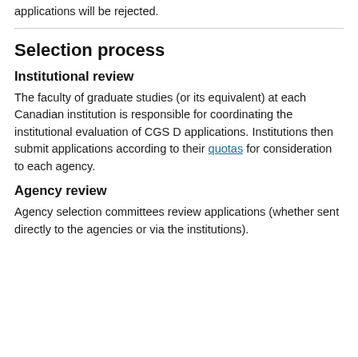applications will be rejected.
Selection process
Institutional review
The faculty of graduate studies (or its equivalent) at each Canadian institution is responsible for coordinating the institutional evaluation of CGS D applications. Institutions then submit applications according to their quotas for consideration to each agency.
Agency review
Agency selection committees review applications (whether sent directly to the agencies or via the institutions).